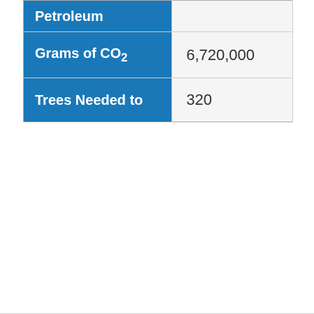|  |  |
| --- | --- |
| Petroleum |  |
| Grams of CO₂ | 6,720,000 |
| Trees Needed to | 320 |